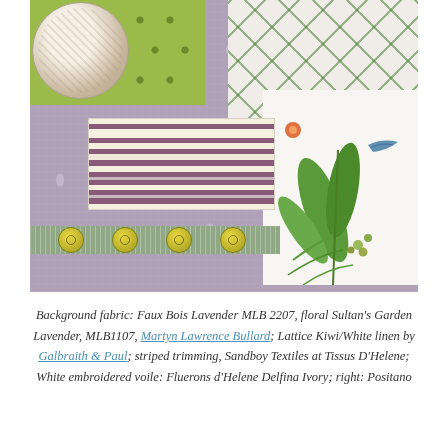[Figure (photo): Flat lay of fabric swatches on a lavender/mauve background fabric with white floral pattern. Top left: rolled cream fabric and green patterned fabric. Top right: green lattice fabric and botanical floral fabric. Center: purple and cream horizontal striped ribbon/trim. Bottom: green grosgrain ribbon with yellow/olive buttons.]
Background fabric: Faux Bois Lavender MLB 2207, floral Sultan's Garden Lavender, MLB1107, Martyn Lawrence Bullard; Lattice Kiwi/White linen by Galbraith & Paul; striped trimming, Sandboy Textiles at Tissus D'Helene; White embroidered voile: Fluerons d'Helene Delfina Ivory; right: Positano